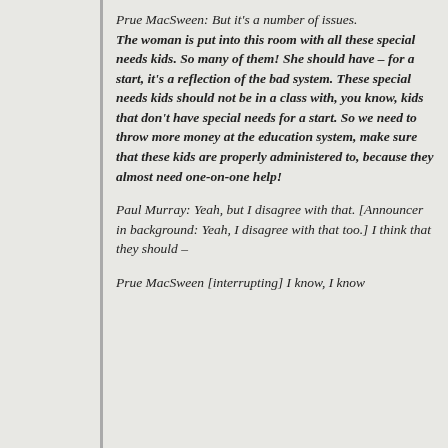Prue MacSween: But it's a number of issues. The woman is put into this room with all these special needs kids. So many of them! She should have – for a start, it's a reflection of the bad system. These special needs kids should not be in a class with, you know, kids that don't have special needs for a start. So we need to throw more money at the education system, make sure that these kids are properly administered to, because they almost need one-on-one help!
Paul Murray: Yeah, but I disagree with that. [Announcer in background: Yeah, I disagree with that too.] I think that they should –
Prue MacSween [interrupting] I know, I know